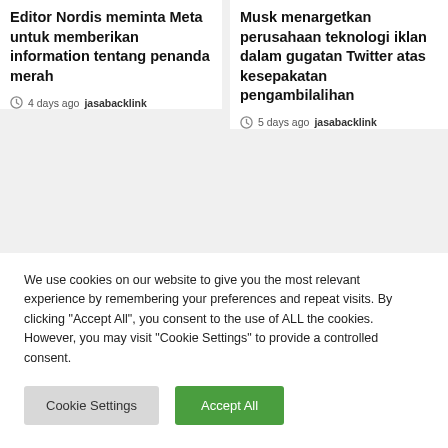Editor Nordis meminta Meta untuk memberikan information tentang penanda merah
4 days ago  jasabacklink
Musk menargetkan perusahaan teknologi iklan dalam gugatan Twitter atas kesepakatan pengambilalihan
5 days ago  jasabacklink
[Figure (photo): Photo of American flag with red and white stripes and stars on blue background, with a dark phone visible at the bottom right]
We use cookies on our website to give you the most relevant experience by remembering your preferences and repeat visits. By clicking "Accept All", you consent to the use of ALL the cookies. However, you may visit "Cookie Settings" to provide a controlled consent.
Cookie Settings
Accept All